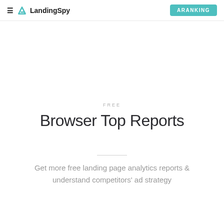≡ LandingSpy  ARANKING
FREE
Browser Top Reports
Get more free landing page analytics reports & understand competitors' ad strategy